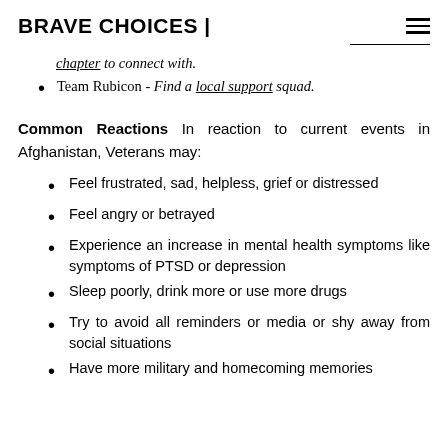BRAVE CHOICES |
chapter to connect with.
Team Rubicon - Find a local support squad.
Common Reactions In reaction to current events in Afghanistan, Veterans may:
Feel frustrated, sad, helpless, grief or distressed
Feel angry or betrayed
Experience an increase in mental health symptoms like symptoms of PTSD or depression
Sleep poorly, drink more or use more drugs
Try to avoid all reminders or media or shy away from social situations
Have more military and homecoming memories